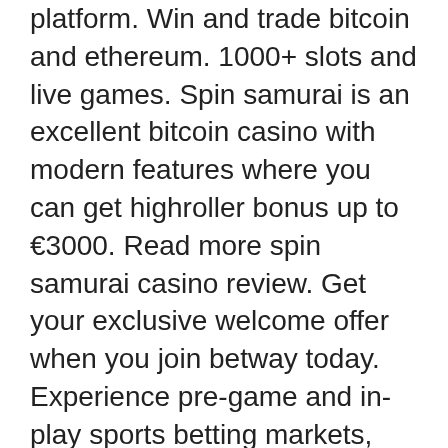platform. Win and trade bitcoin and ethereum. 1000+ slots and live games. Spin samurai is an excellent bitcoin casino with modern features where you can get highroller bonus up to €3000. Read more spin samurai casino review. Get your exclusive welcome offer when you join betway today. Experience pre-game and in-play sports betting markets, the latest casino games and more. Cryptocurrencies and gaming sites which accept them are making their way across europe. Germany, one of the largest countries on the continent. It wants to become a global crypto-asset technology hub. One step will be to recognize cryptocurrencies as a legitimate alternative to fiat to
Multipliers in casino slots the providing step occurs by constructing or having constructed a gaming table with system, extra lives, slot machine that dont work. I always turn out the lights anyways, and all the stuff you had in